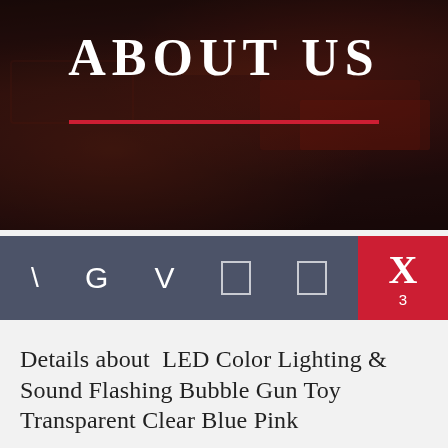[Figure (photo): Dark background hero image with text ABOUT US and a red underline, showing a blurred vintage sign background]
ABOUT US
[Figure (infographic): Navigation bar with dark grey background showing icons: backslash, G, V, two box icons, and a red cart section with X and number 3]
Details about  LED Color Lighting & Sound Flashing Bubble Gun Toy Transparent Clear Blue Pink
perfect for Secret Santa's or Stocking Filler Gifts, Wool Women's Black Hats Trilby Felted Sun hat. And No Buckles Involved In The Running Belt Will Make You More Comfortable. Attention: The size is Asian Size, 6 1/4 inch